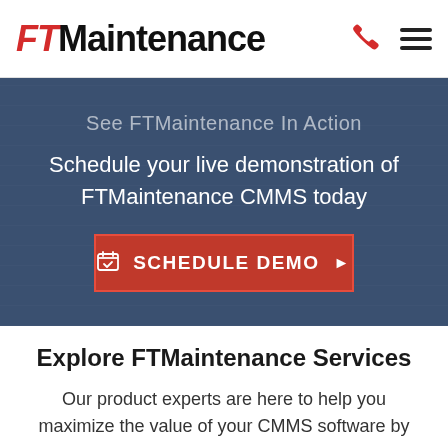[Figure (logo): FTMaintenance logo with red italic FT and black bold Maintenance text, alongside a red phone icon and hamburger menu icon]
See FTMaintenance In Action
Schedule your live demonstration of FTMaintenance CMMS today
SCHEDULE DEMO ▶
Explore FTMaintenance Services
Our product experts are here to help you maximize the value of your CMMS software by